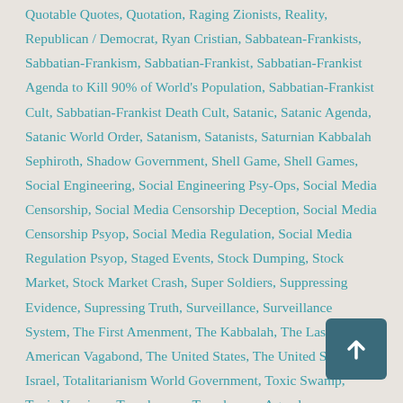Quotable Quotes, Quotation, Raging Zionists, Reality, Republican / Democrat, Ryan Cristian, Sabbatean-Frankists, Sabbatian-Frankism, Sabbatian-Frankist, Sabbatian-Frankist Agenda to Kill 90% of World's Population, Sabbatian-Frankist Cult, Sabbatian-Frankist Death Cult, Satanic, Satanic Agenda, Satanic World Order, Satanism, Satanists, Saturnian Kabbalah Sephiroth, Shadow Government, Shell Game, Shell Games, Social Engineering, Social Engineering Psy-Ops, Social Media Censorship, Social Media Censorship Deception, Social Media Censorship Psyop, Social Media Regulation, Social Media Regulation Psyop, Staged Events, Stock Dumping, Stock Market, Stock Market Crash, Super Soldiers, Suppressing Evidence, Supressing Truth, Surveillance, Surveillance System, The First Amenment, The Kabbalah, The Last American Vagabond, The United States, The United States of Israel, Totalitarianism World Government, Toxic Swamp, Toxic Vaccines, Transhuman, Transhuman Agenda, Transhumanism, Transhumanism Agenda, Transhumanist Agenda, Treachery, Treason, Trump Administration, Trump